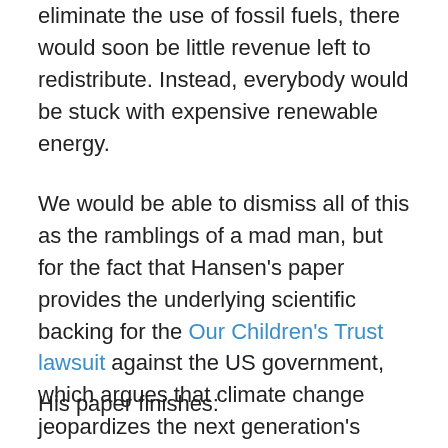eliminate the use of fossil fuels, there would soon be little revenue left to redistribute. Instead, everybody would be stuck with expensive renewable energy.
We would be able to dismiss all of this as the ramblings of a mad man, but for the fact that Hansen's paper provides the underlying scientific backing for the Our Children's Trust lawsuit against the US government, which argues that climate change jeopardizes the next generation's inalienable rights under the U.S. Constitution to life, liberty and the pursuit of happiness.
His paper finishes: